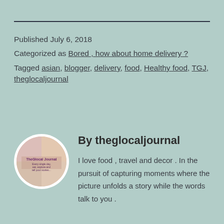Published July 6, 2018
Categorized as Bored , how about home delivery ?
Tagged asian, blogger, delivery, food, Healthy food, TGJ, theglocaljournal
By theglocaljournal
I love food , travel and decor . In the pursuit of capturing moments where the picture unfolds a story while the words talk to you .